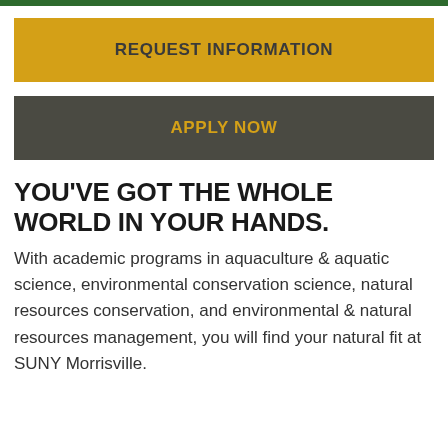[Figure (other): Dark green top bar strip]
REQUEST INFORMATION
APPLY NOW
YOU'VE GOT THE WHOLE WORLD IN YOUR HANDS.
With academic programs in aquaculture & aquatic science, environmental conservation science, natural resources conservation, and environmental & natural resources management, you will find your natural fit at SUNY Morrisville.